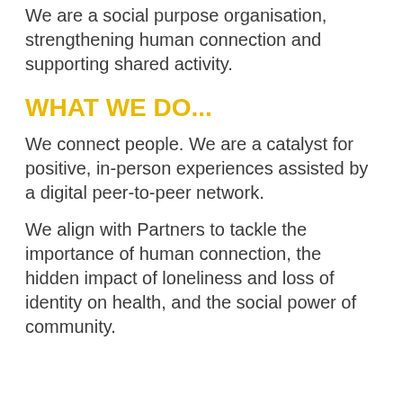We are a social purpose organisation, strengthening human connection and supporting shared activity.
WHAT WE DO...
We connect people. We are a catalyst for positive, in-person experiences assisted by a digital peer-to-peer network.
We align with Partners to tackle the importance of human connection, the hidden impact of loneliness and loss of identity on health, and the social power of community.